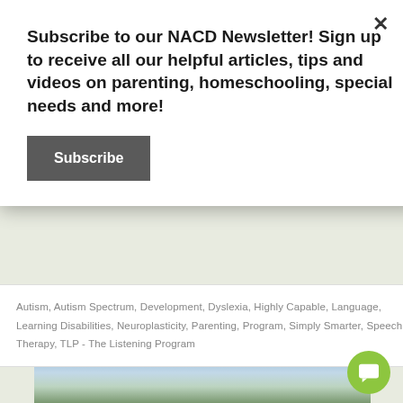Subscribe to our NACD Newsletter! Sign up to receive all our helpful articles, tips and videos on parenting, homeschooling, special needs and more!
Subscribe
Autism, Autism Spectrum, Development, Dyslexia, Highly Capable, Language, Learning Disabilities, Neuroplasticity, Parenting, Program, Simply Smarter, Speech Therapy, TLP - The Listening Program
[Figure (photo): A young woman with glasses walking outdoors on a path, wearing a grey long-sleeve shirt, holding a dog leash, with trees and houses in the background under a partly cloudy sky.]